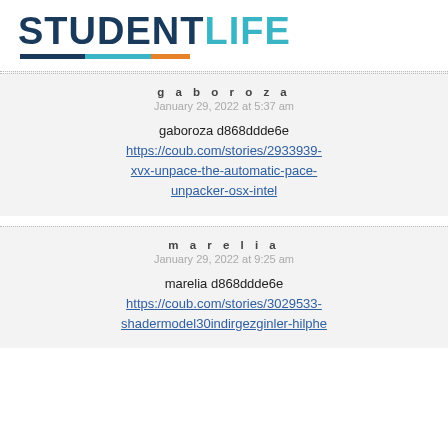[Figure (logo): StudentLife logo with STUDENT in dark navy and LIFE in teal, with a three-color underline bar in navy, teal, and orange]
gaboroza
January 29, 2022 at 5:37 am

gaboroza d868ddde6e
https://coub.com/stories/2933939-xvx-unpace-the-automatic-pace-unpacker-osx-intel
marelia
January 29, 2022 at 9:25 am

marelia d868ddde6e
https://coub.com/stories/3029533-shadermodel30indirgezginler-hilphe